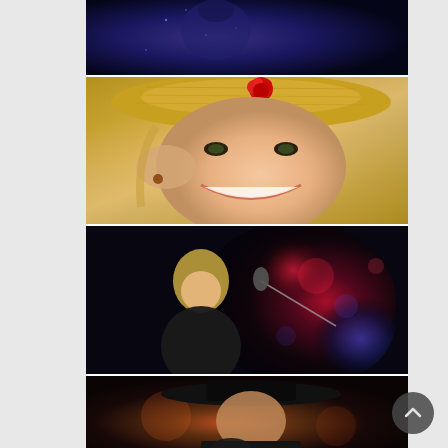[Figure (photo): Top cropped photo of a person in dark/blue sparkly outfit against dark background]
[Figure (photo): Close-up photo of a smiling woman wearing a straw hat with a red rose, touching her hat with her hand]
[Figure (photo): Photo of a male musician with long blond hair singing into a microphone, with colorful stage lights (red and blue bokeh) in background]
[Figure (photo): Photo of a man wearing a wide-brimmed black hat in dark/warm toned setting]